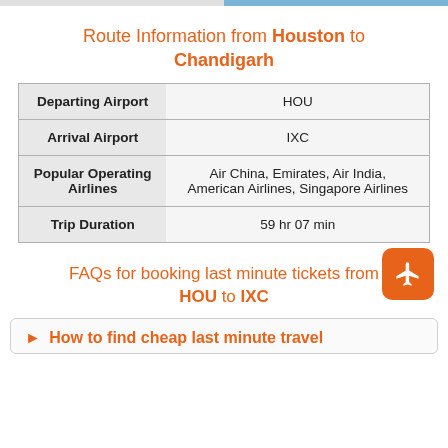Route Information from Houston to Chandigarh
|  |  |
| --- | --- |
| Departing Airport | HOU |
| Arrival Airport | IXC |
| Popular Operating Airlines | Air China, Emirates, Air India, American Airlines, Singapore Airlines |
| Trip Duration | 59 hr 07 min |
FAQs for booking last minute tickets from HOU to IXC
▶ How to find cheap last minute travel